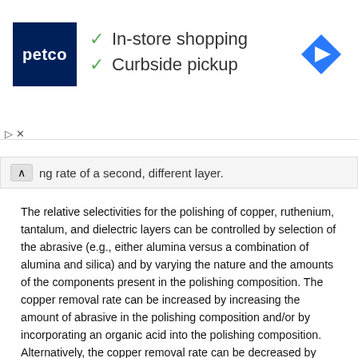[Figure (other): Petco advertisement banner showing Petco logo, checkmarks for In-store shopping and Curbside pickup, and a navigation/directions icon]
ng rate of a second, different layer.
The relative selectivities for the polishing of copper, ruthenium, tantalum, and dielectric layers can be controlled by selection of the abrasive (e.g., either alumina versus a combination of alumina and silica) and by varying the nature and the amounts of the components present in the polishing composition. The copper removal rate can be increased by increasing the amount of abrasive in the polishing composition and/or by incorporating an organic acid into the polishing composition. Alternatively, the copper removal rate can be decreased by increasing the amount of a corrosion inhibitor for copper in the polishing composition. The ruthenium removal rate can be decreased by using an abrasive comprising a combination of alumina and silica. The tantalum removal rate can be increased by increasing the amount of calcium ion or magnesium ion in the polishing composition, or by increasing the amount of oxidizing agent in the polishing composition. The dielectric removal rate can be increased by using an abrasive comprising a combination of alumina and silica and by increasing the total amount of abrasive in the polishing composition. As previously